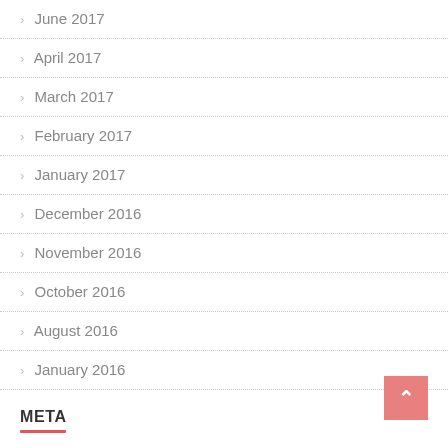> June 2017
> April 2017
> March 2017
> February 2017
> January 2017
> December 2016
> November 2016
> October 2016
> August 2016
> January 2016
META
> Log in